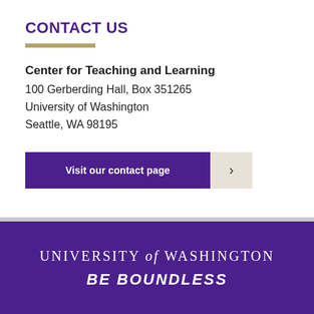CONTACT US
Center for Teaching and Learning
100 Gerberding Hall, Box 351265
University of Washington
Seattle, WA 98195
Visit our contact page
UNIVERSITY of WASHINGTON
BE BOUNDLESS